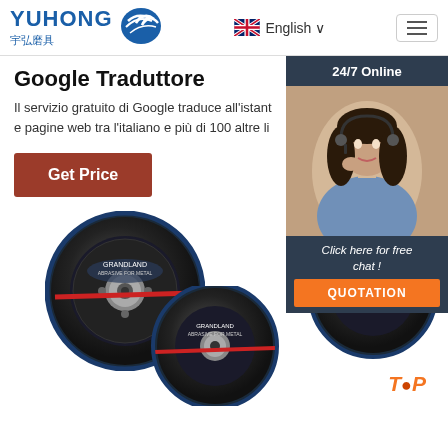[Figure (logo): Yuhong 宇弘磨具 logo with blue wave icon]
English
Google Traduttore
Il servizio gratuito di Google traduce all'istant e pagine web tra l'italiano e più di 100 altre li
Get Price
[Figure (photo): 24/7 Online customer service chat widget with photo of woman with headset, Click here for free chat, QUOTATION button]
[Figure (photo): Three Grandland abrasive cutting discs displayed on white background]